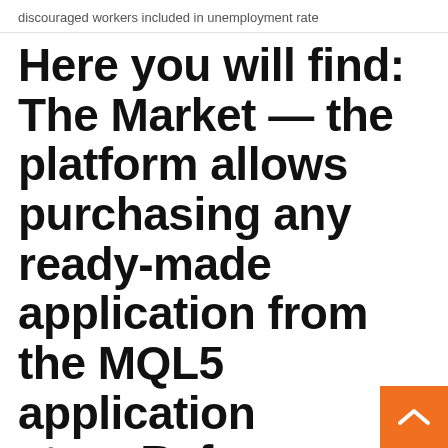discouraged workers included in unemployment rate
Here you will find: The Market — the platform allows purchasing any ready-made application from the MQL5 application store.Before purchasing, you can download a trial
24 Oct 2018 Metatrader is a kind of software that connects to the different trading platforms and allows to trade in them through a computer or smart phone. Download MetaTrader 5 and enjoy it on your iPhone, iPad, and iPod touch. for push-notifications from the desktop platform and MQL5.community services 27 Sep 2019 And on MT4, you can indeed setup your